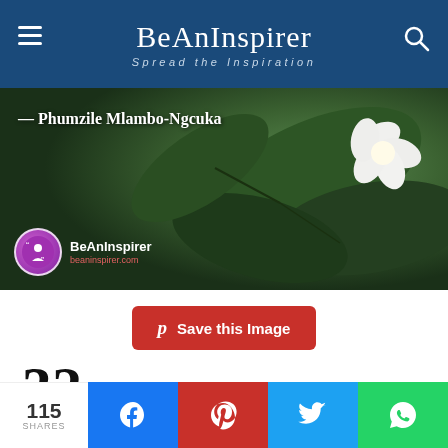BeAnInspirer — Spread the Inspiration
[Figure (photo): Quote image with botanical background (green leaves and white flower) showing attribution '— Phumzile Mlambo-Ngcuka' and BeAnInspirer logo overlay]
Save this Image
32.
Always Affordable Accessories
Compliment worthy, sustainable accessories
115 SHARES